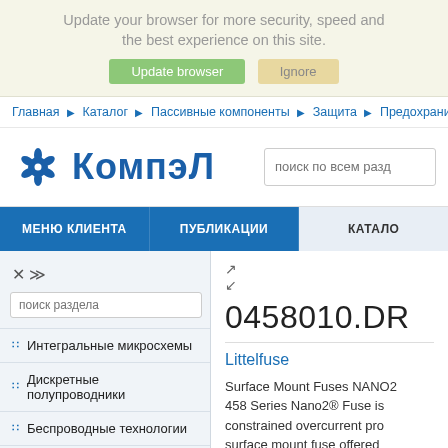Update your browser for more security, speed and the best experience on this site.
Update browser  Ignore
Главная ▶ Каталог ▶ Пассивные компоненты ▶ Защита ▶ Предохранители плавкие ▶
[Figure (logo): Компэл logo with gear/flower icon and bold Cyrillic text КомпэЛ in blue]
поиск по всем разд...
МЕНЮ КЛИЕНТА   ПУБЛИКАЦИИ   КАТАЛО
поиск раздела
Интегральные микросхемы
Дискретные полупроводники
Беспроводные технологии
Пассивные компоненты
0458010.DR
Littelfuse
Surface Mount Fuses NANO2 458 Series Nano2® Fuse is constrained overcurrent pro surface mount fuse offered